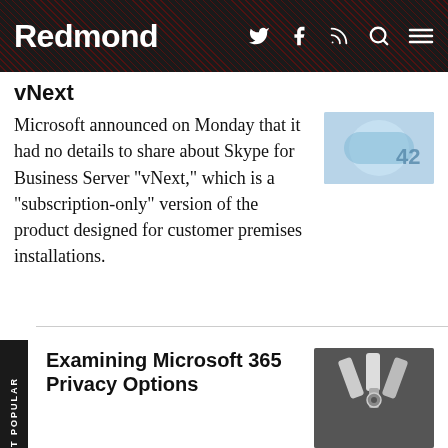Redmond
vNext
Microsoft announced on Monday that it had no details to share about Skype for Business Server "vNext," which is a "subscription-only" version of the product designed for customer premises installations.
Examining Microsoft 365 Privacy Options
You might not be able to stay hidden from your employer's watchful eye, but you do have some control on the amount of visibility.